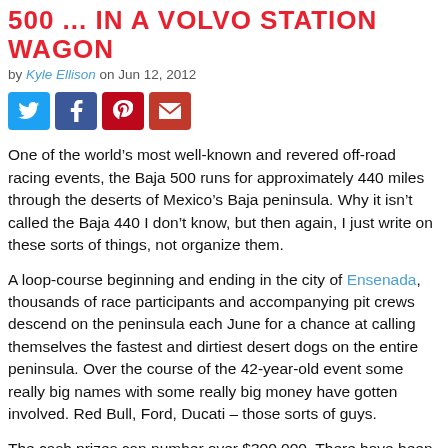500 ... IN A VOLVO STATION WAGON
by Kyle Ellison on Jun 12, 2012
[Figure (other): Social share buttons: Twitter, Facebook, Pinterest, Email]
One of the world’s most well-known and revered off-road racing events, the Baja 500 runs for approximately 440 miles through the deserts of Mexico’s Baja peninsula. Why it isn’t called the Baja 440 I don’t know, but then again, I just write on these sorts of things, not organize them.
A loop-course beginning and ending in the city of Ensenada, thousands of race participants and accompanying pit crews descend on the peninsula each June for a chance at calling themselves the fastest and dirtiest desert dogs on the entire peninsula. Over the course of the 42-year-old event some really big names with some really big money have gotten involved. Red Bull, Ford, Ducati – those sorts of guys.
The cash prizes can number over $300,000. There have been